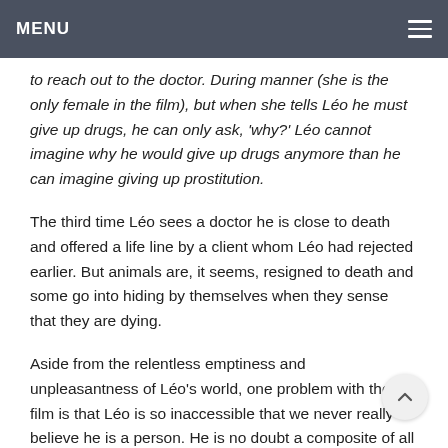MENU
to reach out to the doctor. During manner (she is the only female in the film), but when she tells Léo he must give up drugs, he can only ask, 'why?' Léo cannot imagine why he would give up drugs anymore than he can imagine giving up prostitution.
The third time Léo sees a doctor he is close to death and offered a life line by a client whom Léo had rejected earlier. But animals are, it seems, resigned to death and some go into hiding by themselves when they sense that they are dying.
Aside from the relentless emptiness and unpleasantness of Léo's world, one problem with the film is that Léo is so inaccessible that we never really believe he is a person. He is no doubt a composite of all of the men the director encountered during his extensive research, but as a character, for all his vulnerability, it is difficult to care about